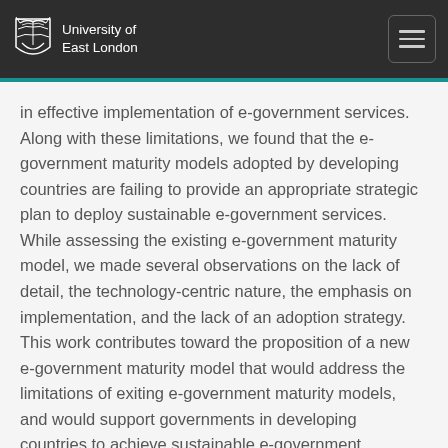University of East London
in effective implementation of e-government services. Along with these limitations, we found that the e-government maturity models adopted by developing countries are failing to provide an appropriate strategic plan to deploy sustainable e-government services. While assessing the existing e-government maturity model, we made several observations on the lack of detail, the technology-centric nature, the emphasis on implementation, and the lack of an adoption strategy. This work contributes toward the proposition of a new e-government maturity model that would address the limitations of exiting e-government maturity models, and would support governments in developing countries to achieve sustainable e-government services. To achieve this goal, we considered five